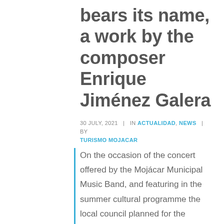bears its name, a work by the composer Enrique Jiménez Galera
30 JULY, 2021  |  IN ACTUALIDAD, NEWS  |  BY TURISMO MOJACAR
On the occasion of the concert offered by the Mojácar Municipal Music Band, and featuring in the summer cultural programme the local council planned for the summer, there was heard for the first time the chords of the "Mojácar" paso doble, a work by the Almerian composer Enrique Jiménez Galera, which he composed in honour of this locality.